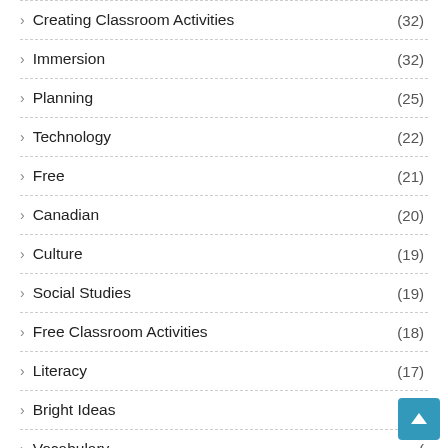Creating Classroom Activities (32)
Immersion (32)
Planning (25)
Technology (22)
Free (21)
Canadian (20)
Culture (19)
Social Studies (19)
Free Classroom Activities (18)
Literacy (17)
Bright Ideas (16)
Vocabulary (
Teacher Organization (15)